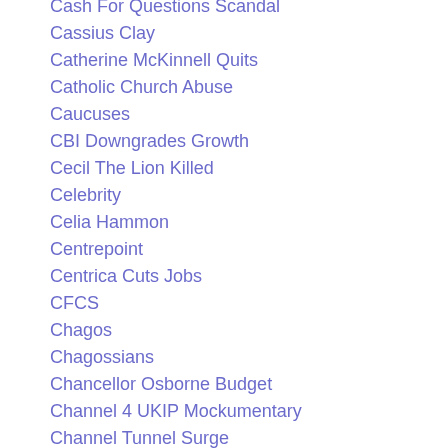Cash For Questions Scandal
Cassius Clay
Catherine McKinnell Quits
Catholic Church Abuse
Caucuses
CBI Downgrades Growth
Cecil The Lion Killed
Celebrity
Celia Hammon
Centrepoint
Centrica Cuts Jobs
CFCS
Chagos
Chagossians
Chancellor Osborne Budget
Channel 4 UKIP Mockumentary
Channel Tunnel Surge
Chariots Of Fire